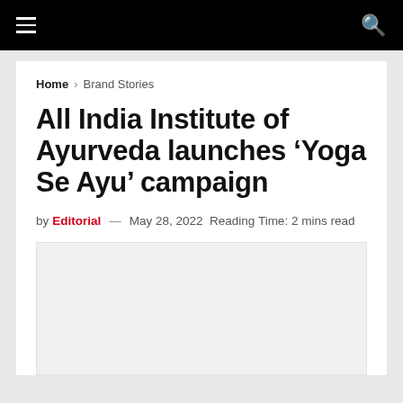≡  🔍
Home > Brand Stories
All India Institute of Ayurveda launches 'Yoga Se Ayu' campaign
by Editorial — May 28, 2022  Reading Time: 2 mins read
[Figure (photo): Light grey image placeholder below the article byline]